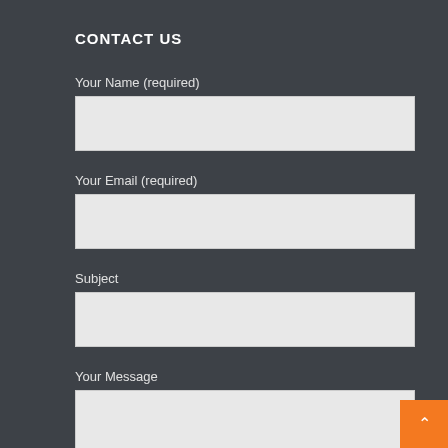CONTACT US
Your Name (required)
Your Email (required)
Subject
Your Message